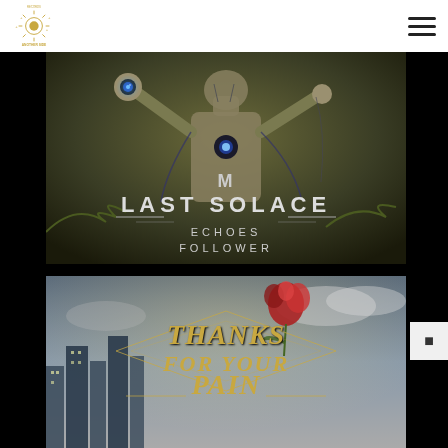Another Side Records — navigation header with logo and hamburger menu
[Figure (illustration): Album artwork for Last Solace — Echoes / Follower. A humanoid robot figure with mechanical arms raised, glowing eye in palm, set against a dark cave-like background. Text overlay reads 'LAST SOLACE' in large futuristic font with 'ECHOES FOLLOWER' beneath.]
[Figure (illustration): Album artwork showing 'THANKS FOR YOUR PAIN' text in ornate metallic lettering with a red rose, set against a cityscape background with skyscrapers and cloudy sky.]